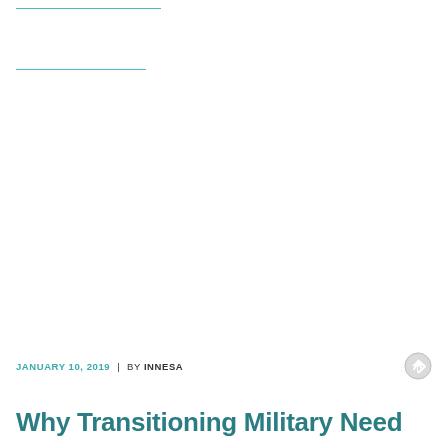JANUARY 10, 2019  |  BY INNESA
Why Transitioning Military Need